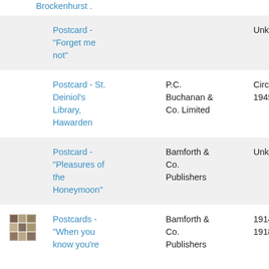Brockenhurst .
|  | Title | Publisher | Date |
| --- | --- | --- | --- |
|  | Postcard - "Forget me not" |  | Unknown |
|  | Postcard - St. Deiniol's Library, Hawarden | P.C. Buchanan & Co. Limited | Circa 1945 |
|  | Postcard - "Pleasures of the Honeymoon" | Bamforth & Co. Publishers | Unknown |
| [thumbnail] | Postcards - "When you know you're | Bamforth & Co. Publishers | 1914-1918 |